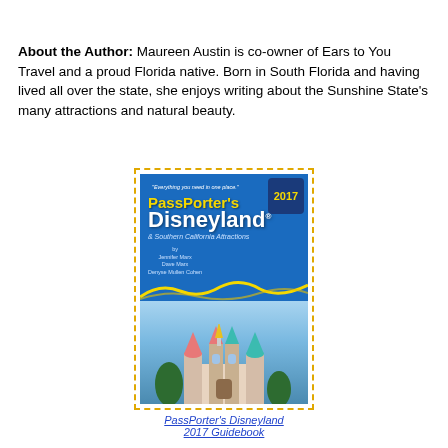About the Author: Maureen Austin is co-owner of Ears to You Travel and a proud Florida native. Born in South Florida and having lived all over the state, she enjoys writing about the Sunshine State's many attractions and natural beauty.
[Figure (photo): Book cover of PassPorter's Disneyland & Southern California Attractions 2017 Guidebook, shown with a dashed yellow/gold border. The cover is blue with yellow title text 'PassPorter's Disneyland' and an image of Sleeping Beauty Castle.]
PassPorter's Disneyland 2017 Guidebook